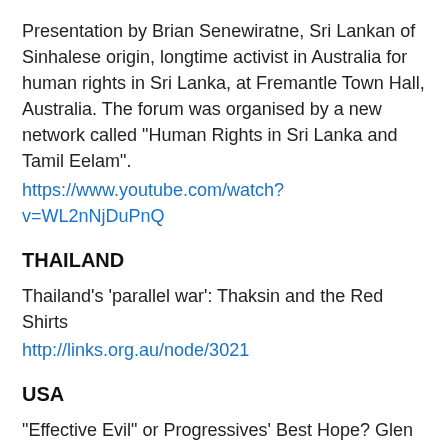Presentation by Brian Senewiratne, Sri Lankan of Sinhalese origin, longtime activist in Australia for human rights in Sri Lanka, at Fremantle Town Hall, Australia. The forum was organised by a new network called "Human Rights in Sri Lanka and Tamil Eelam".
https://www.youtube.com/watch?v=WL2nNjDuPnQ
THAILAND
Thailand's 'parallel war': Thaksin and the Red Shirts
http://links.org.au/node/3021
USA
"Effective Evil" or Progressives' Best Hope? Glen Ford vs. Michael Eric Dyson on Obama Presidency
http://www.democracynow.org/2012/9/7/effective_evil_or_